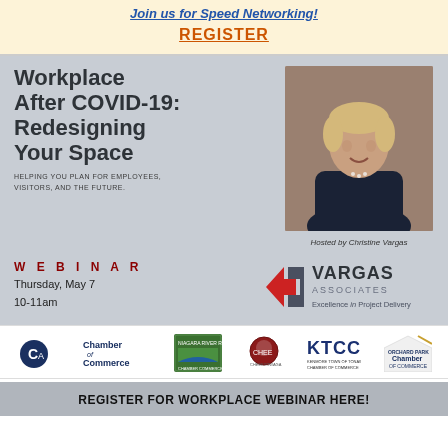Join us for Speed Networking!
REGISTER
Workplace After COVID-19: Redesigning Your Space
HELPING YOU PLAN FOR EMPLOYEES, VISITORS, AND THE FUTURE.
[Figure (photo): Professional headshot of Christine Vargas, a woman with short blonde hair wearing a dark blazer]
Hosted by Christine Vargas
WEBINAR
Thursday, May 7
10-11am
[Figure (logo): Vargas Associates logo with red and gray geometric house/arrow icon and text 'VARGAS ASSOCIATES Excellence in Project Delivery']
[Figure (logo): Five chamber of commerce logos: Greater Buffalo Chamber of Commerce, Niagara River Region Chamber of Commerce, Cheektowaga Chamber, KTCC, Orchard Park Chamber of Commerce]
REGISTER FOR WORKPLACE WEBINAR HERE!